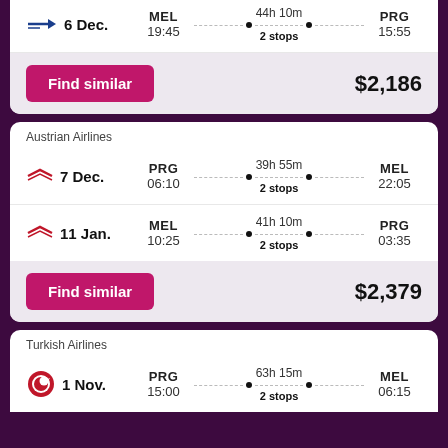6 Dec. MEL 19:45 — 44h 10m 2 stops — PRG 15:55
Find similar $2,186
Austrian Airlines
7 Dec. PRG 06:10 — 39h 55m 2 stops — MEL 22:05
11 Jan. MEL 10:25 — 41h 10m 2 stops — PRG 03:35
Find similar $2,379
Turkish Airlines
1 Nov. PRG 15:00 — 63h 15m 2 stops — MEL 06:15